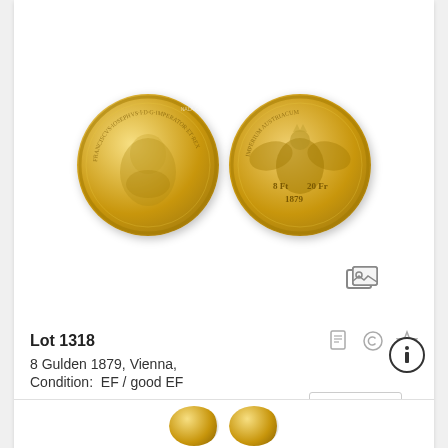[Figure (photo): Two gold coins side by side — obverse showing portrait of Franz Joseph I, reverse showing Austrian imperial eagle with '8 Ft 20 Fr 1879' inscription]
Lot 1318
8 Gulden 1879, Vienna,
Condition:  EF / good EF
| Result | My Bid | Starting price |
| --- | --- | --- |
| 360 € |  | 200 € |
Details